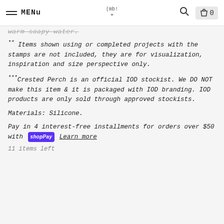MENU | [logo] | [search] | [bag] 0
warm soapy water.
** Items shown using or completed projects with the stamps are not included, they are for visualization, inspiration and size perspective only.
***Crested Perch is an official IOD stockist. We DO NOT make this item & it is packaged with IOD branding. IOD products are only sold through approved stockists.
Materials: Silicone.
Pay in 4 interest-free installments for orders over $50 with shopPay Learn more
11 items left